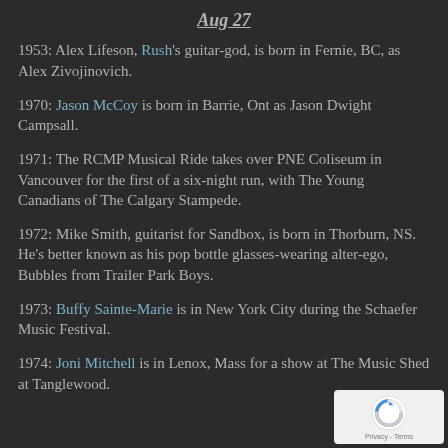Aug 27
1953: Alex Lifeson, Rush's guitar-god, is born in Fernie, BC, as Alex Zivojinovich.
1970: Jason McCoy is born in Barrie, Ont as Jason Dwight Campsall.
1971: The RCMP Musical Ride takes over PNE Coliseum in Vancouver for the first of a six-night run, with The Young Canadians of The Calgary Stampede.
1972: Mike Smith, guitarist for Sandbox, is born in Thorburn, NS. He's better known as his pop bottle glasses-wearing alter-ego, Bubbles from Trailer Park Boys.
1973: Buffy Sainte-Marie is in New York City during the Schaefer Music Festival.
1974: Joni Mitchell is in Lenox, Mass for a show at The Music Shed at Tanglewood.
[Figure (logo): reCAPTCHA badge with logo and Privacy/Terms links]